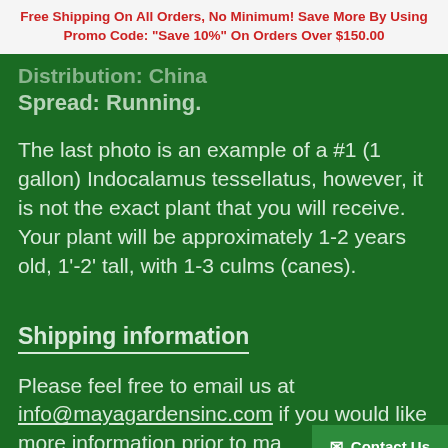Free Shipping On All Orders, No Minimum! Save More By Using Promo Code: "Save 10%" On Orders Over $150.00
Distribution: China
Spread: Running.
The last photo is an example of a #1 (1 gallon) Indocalamus tessellatus, however, it is not the exact plant that you will receive. Your plant will be approximately 1-2 years old, 1'-2' tall, with 1-3 culms (canes).
Shipping information
Please feel free to email us at info@mayagardensinc.com if you would like more information prior to ma...